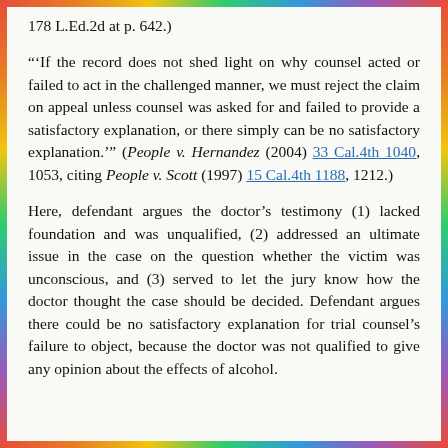178 L.Ed.2d at p. 642.)
"'If the record does not shed light on why counsel acted or failed to act in the challenged manner, we must reject the claim on appeal unless counsel was asked for and failed to provide a satisfactory explanation, or there simply can be no satisfactory explanation.'" (People v. Hernandez (2004) 33 Cal.4th 1040, 1053, citing People v. Scott (1997) 15 Cal.4th 1188, 1212.)
Here, defendant argues the doctor's testimony (1) lacked foundation and was unqualified, (2) addressed an ultimate issue in the case on the question whether the victim was unconscious, and (3) served to let the jury know how the doctor thought the case should be decided. Defendant argues there could be no satisfactory explanation for trial counsel's failure to object, because the doctor was not qualified to give any opinion about the effects of alcohol.